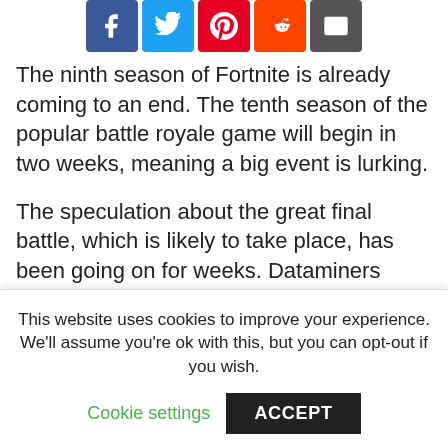[Figure (other): Row of social share icon buttons: Facebook (blue), Twitter (light blue), Pinterest (red), Reddit (orange-red), Email (dark grey)]
The ninth season of Fortnite is already coming to an end. The tenth season of the popular battle royale game will begin in two weeks, meaning a big event is lurking.
The speculation about the great final battle, which is likely to take place, has been going on for weeks. Dataminers previously named the two giants Cattus and Doggus. Several clocks have been found throughout Fortnite Island that are counting down to a specific moment. This counter is expected to stop at 20 July, 8 p.m. GMT +1.
This website uses cookies to improve your experience. We'll assume you're ok with this, but you can opt-out if you wish.
Cookie settings   ACCEPT